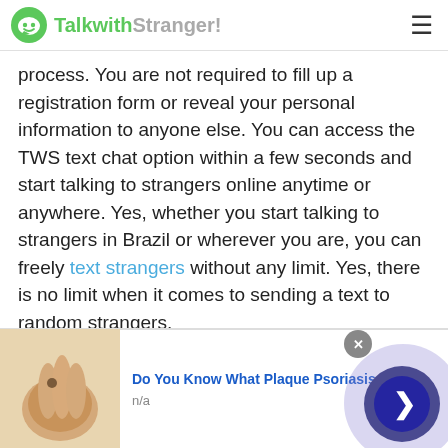TalkwithStranger!
process. You are not required to fill up a registration form or reveal your personal information to anyone else. You can access the TWS text chat option within a few seconds and start talking to strangers online anytime or anywhere. Yes, whether you start talking to strangers in Brazil or wherever you are, you can freely text strangers without any limit. Yes, there is no limit when it comes to sending a text to random strangers.
Moreover, if you want to make your plain text interesting then you have so many things that help
[Figure (infographic): Advertisement banner: skin/hand image with text 'Do You Know What Plaque Psoriasis Is?' and n/a label, with a circular arrow navigation button and close button overlay.]